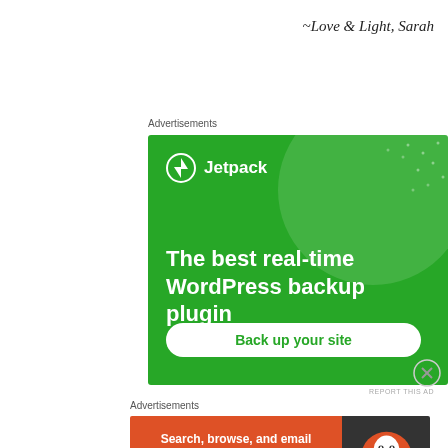~Love & Light, Sarah
Advertisements
[Figure (screenshot): Jetpack WordPress backup plugin advertisement on green background with 'The best real-time WordPress backup plugin' headline and 'Back up your site' button]
Advertisements
[Figure (screenshot): DuckDuckGo advertisement: 'Search, browse, and email with more privacy. All in One Free App' on orange background with DuckDuckGo logo on dark background]